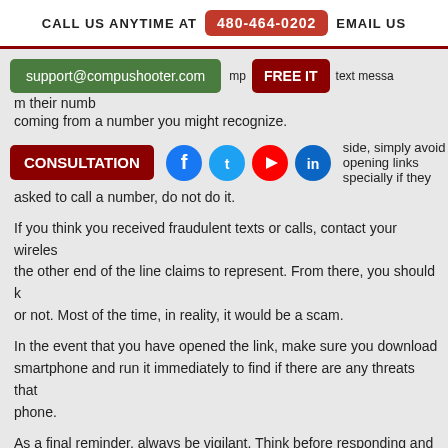CALL US ANYTIME AT 480-464-0202 EMAIL US
support@compushooter.com
FREE IT
text message ... their number coming from a number you might recognize.
CONSULTATION
[Figure (other): Social media icons: Facebook, Twitter, YouTube, LinkedIn]
best to be on the safe side, simply avoid opening links specially if they asked to call a number, do not do it.
If you think you received fraudulent texts or calls, contact your wireless ... the other end of the line claims to represent. From there, you should know or not. Most of the time, in reality, it would be a scam.
In the event that you have opened the link, make sure you download ... smartphone and run it immediately to find if there are any threats that ... phone.
As a final reminder, always be vigilant. Think before responding and do ... So remain vigilant. And, above all, take a second before opening that ...